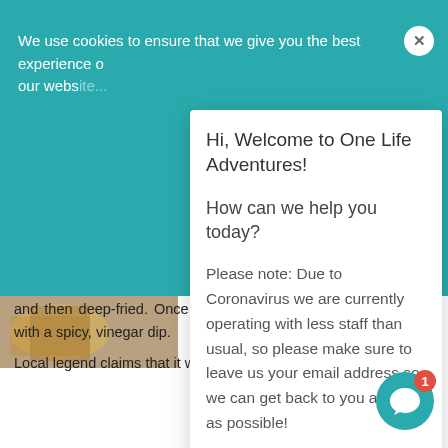We use cookies to ensure that we give you the best experience on our website...
[Figure (screenshot): Chat popup overlay from One Life Adventures website with welcome message and coronavirus notice]
and then deep-fried. Once crispy, kwek-kwek is usually served with a spicy, vinegar dip.
Local legend claims that it was invented accidentally